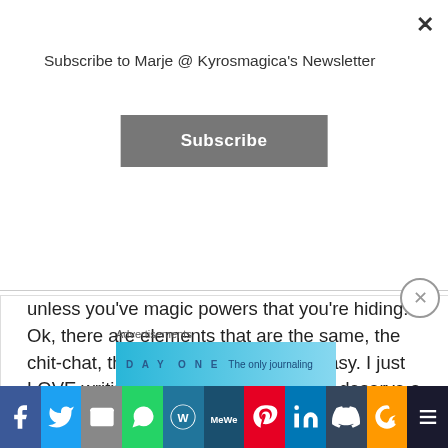Subscribe to Marje @ Kyrosmagica's Newsletter
Subscribe
unless you've magic powers that you're hiding! Ok, there are elements that are the same, the chit-chat, the bonding, but this is fantasy. I just LOVE writing fantasy, and sleepovers deserve a brush with fantasy I reckon.
What do you think? Have you any funny sleepover stories you would like to share? Please do. I would love to hear them.
Advertisements
[Figure (screenshot): Day One journaling app advertisement banner with light blue background showing 'DAY ONE' text and 'The only journaling...' tagline]
[Figure (infographic): Social media share bar with Facebook, Twitter, Email, WhatsApp, WordPress, MeWe, Pinterest, LinkedIn, Tumblr, Amazon, and More buttons]